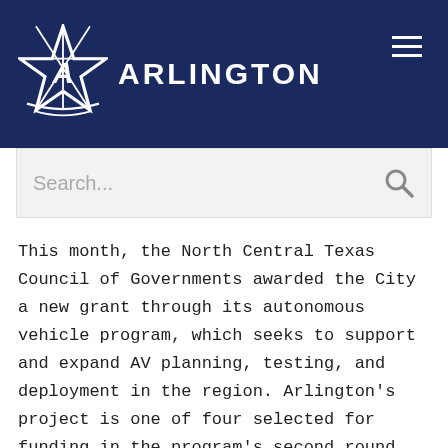Arlington
This month, the North Central Texas Council of Governments awarded the City a new grant through its autonomous vehicle program, which seeks to support and expand AV planning, testing, and deployment in the region. Arlington's project is one of four selected for funding in the program's second round. The grant will allow RAPID to operate for two additional years, as well as adding vehicles with higher seating capacity and technology to move toward removing the human operator.